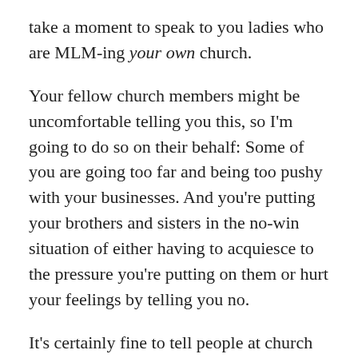take a moment to speak to you ladies who are MLM-ing your own church.
Your fellow church members might be uncomfortable telling you this, so I'm going to do so on their behalf: Some of you are going too far and being too pushy with your businesses. And you're putting your brothers and sisters in the no-win situation of either having to acquiesce to the pressure you're putting on them or hurt your feelings by telling you no.
It's certainly fine to tell people at church what your job is when they ask, but leave the ball in their court:
“What do you do?”